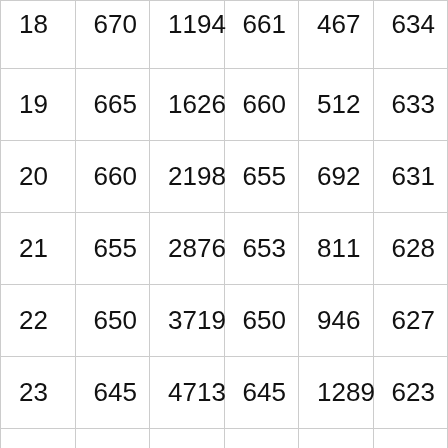| 18 | 670 | 1194 | 661 | 467 | 634 |
| 19 | 665 | 1626 | 660 | 512 | 633 |
| 20 | 660 | 2198 | 655 | 692 | 631 |
| 21 | 655 | 2876 | 653 | 811 | 628 |
| 22 | 650 | 3719 | 650 | 946 | 627 |
| 23 | 645 | 4713 | 645 | 1289 | 623 |
|  |  |  |  |  |  |